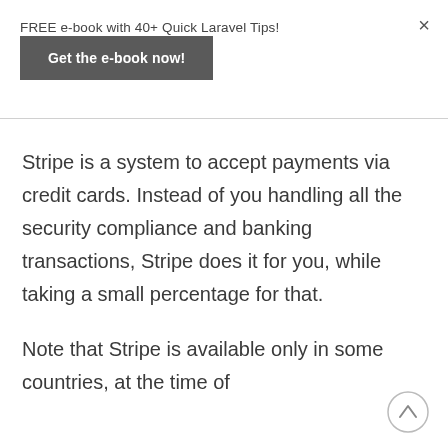FREE e-book with 40+ Quick Laravel Tips!
Get the e-book now!
×
Stripe is a system to accept payments via credit cards. Instead of you handling all the security compliance and banking transactions, Stripe does it for you, while taking a small percentage for that.
Note that Stripe is available only in some countries, at the time of